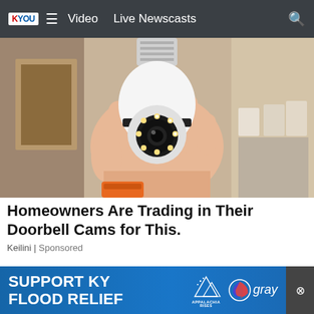KYOU | Video | Live Newscasts
[Figure (photo): A hand holding a white security camera shaped like a light bulb with a screw-in base, showing a circular camera lens with LED lights around it, set against a wooden shelf background with tools and electrical equipment visible.]
Homeowners Are Trading in Their Doorbell Cams for This.
Keilini | Sponsored
[Figure (infographic): Blue advertisement banner reading SUPPORT KY FLOOD RELIEF with Appalachia Rises mountain logo and Gray television network logo.]